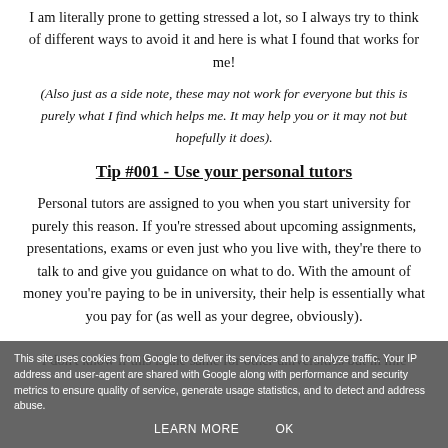I am literally prone to getting stressed a lot, so I always try to think of different ways to avoid it and here is what I found that works for me!
(Also just as a side note, these may not work for everyone but this is purely what I find which helps me. It may help you or it may not but hopefully it does).
Tip #001 - Use your personal tutors
Personal tutors are assigned to you when you start university for purely this reason. If you're stressed about upcoming assignments, presentations, exams or even just who you live with, they're there to talk to and give you guidance on what to do. With the amount of money you're paying to be in university, their help is essentially what you pay for (as well as your degree, obviously). I don't know if this is the same for other universities but in mie
This site uses cookies from Google to deliver its services and to analyze traffic. Your IP address and user-agent are shared with Google along with performance and security metrics to ensure quality of service, generate usage statistics, and to detect and address abuse.
LEARN MORE    OK